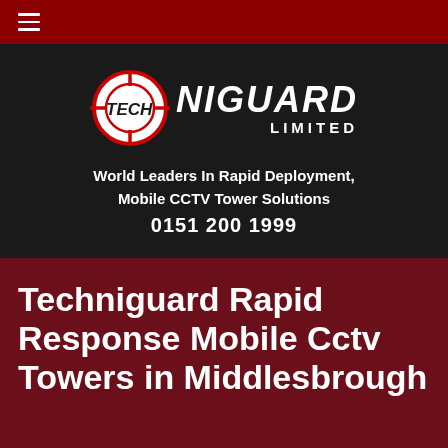≡
[Figure (logo): Techniguard Limited logo — circular crosshair/target icon in red and white with crosshairs, next to bold italic white text reading TECHNIGUARD with LIMITED underneath]
World Leaders In Rapid Deployment, Mobile CCTV Tower Solutions
0151 200 1999
Techniguard Rapid Response Mobile Cctv Towers in Middlesbrough